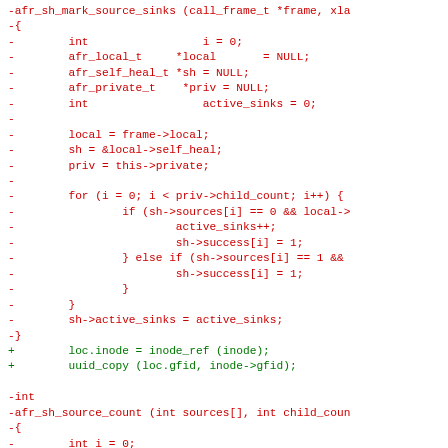[Figure (other): Code diff showing removal of afr_sh_mark_source_sinks function and addition of loc.inode and uuid_copy lines, followed by removal of afr_sh_source_count function header, in red (deleted) and green (added) monospace text]